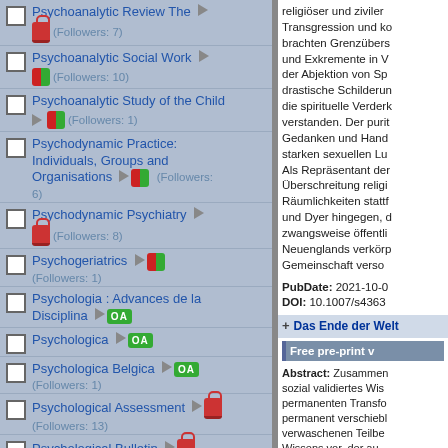Psychoanalytic Review The (Followers: 7)
Psychoanalytic Social Work (Followers: 10)
Psychoanalytic Study of the Child (Followers: 1)
Psychodynamic Practice: Individuals, Groups and Organisations (Followers: 6)
Psychodynamic Psychiatry (Followers: 8)
Psychogeriatrics (Followers: 1)
Psychologia : Advances de la Disciplina
Psychologica
Psychologica Belgica (Followers: 1)
Psychological Assessment (Followers: 13)
Psychological Bulletin (Followers: 234)
religiöser und ziviler Transgression und ko brachten Grenzübers und Exkremente in V der Abjektion von Sp drastische Schilderun die spirituelle Verderk verstanden. Der purit Gedanken und Hand starken sexuellen Lu Als Repräsentant der Überschreitung religi Räumlichkeiten stattf und Dyer hingegen, d zwangsweise öffentli Neuenglands verkörp Gemeinschaft verso
PubDate: 2021-10-0 DOI: 10.1007/s4363
Das Ende der Welt
Free pre-print v
Abstract: Zusammen sozial validiertes Wis permanenten Transfo permanent verschiebl verwaschenen Teilbe Wissens vor, der au Konzept der Nihilien